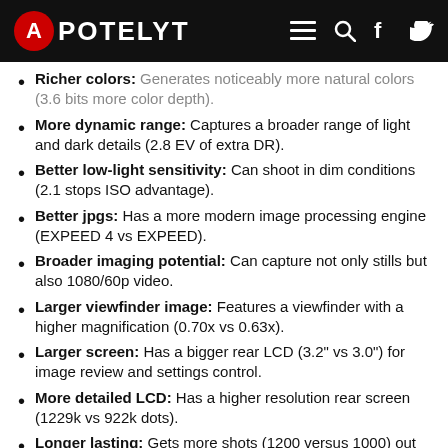APOTELYT
Richer colors: Generates noticeably more natural colors (3.6 bits more color depth).
More dynamic range: Captures a broader range of light and dark details (2.8 EV of extra DR).
Better low-light sensitivity: Can shoot in dim conditions (2.1 stops ISO advantage).
Better jpgs: Has a more modern image processing engine (EXPEED 4 vs EXPEED).
Broader imaging potential: Can capture not only stills but also 1080/60p video.
Larger viewfinder image: Features a viewfinder with a higher magnification (0.70x vs 0.63x).
Larger screen: Has a bigger rear LCD (3.2" vs 3.0") for image review and settings control.
More detailed LCD: Has a higher resolution rear screen (1229k vs 922k dots).
Longer lasting: Gets more shots (1200 versus 1000) out of a single battery charge.
Faster data transfer: Supports a more advanced USB protocol (3.0 vs 2.0).